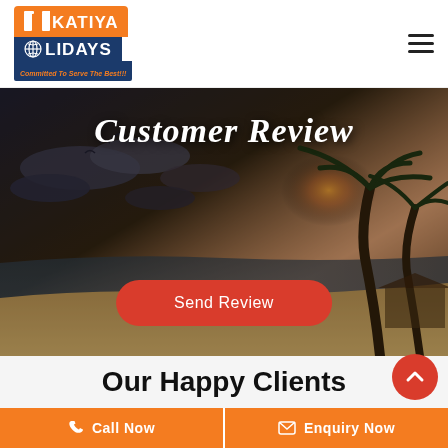[Figure (logo): Kakatiya Holidays logo with orange top bar and dark blue bottom bar, tagline: Committed To Serve The Best!!!]
[Figure (photo): Beach sunset scene with palm trees and cloudy sky, dark moody tones]
Customer Review
Send Review
Our Happy Clients
Call Now
Enquiry Now